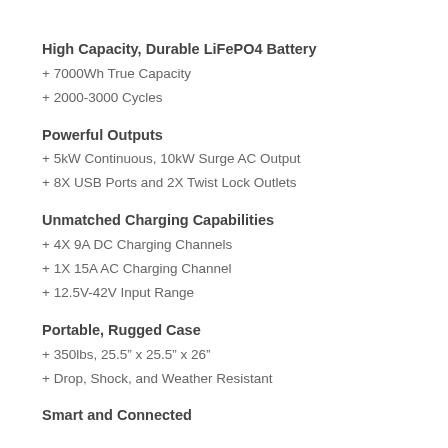High Capacity, Durable LiFePO4 Battery
+ 7000Wh True Capacity
+ 2000-3000 Cycles
Powerful Outputs
+ 5kW Continuous, 10kW Surge AC Output
+ 8X USB Ports and 2X Twist Lock Outlets
Unmatched Charging Capabilities
+ 4X 9A DC Charging Channels
+ 1X 15A AC Charging Channel
+ 12.5V-42V Input Range
Portable, Rugged Case
+ 350lbs, 25.5” x 25.5” x 26”
+ Drop, Shock, and Weather Resistant
Smart and Connected